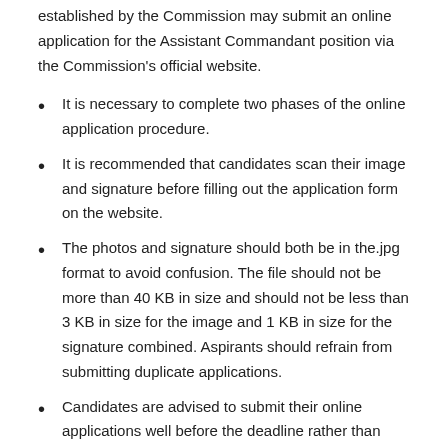established by the Commission may submit an online application for the Assistant Commandant position via the Commission's official website.
It is necessary to complete two phases of the online application procedure.
It is recommended that candidates scan their image and signature before filling out the application form on the website.
The photos and signature should both be in the.jpg format to avoid confusion. The file should not be more than 40 KB in size and should not be less than 3 KB in size for the image and 1 KB in size for the signature combined. Aspirants should refrain from submitting duplicate applications.
Candidates are advised to submit their online applications well before the deadline rather than waiting until the final day to submit online applications.